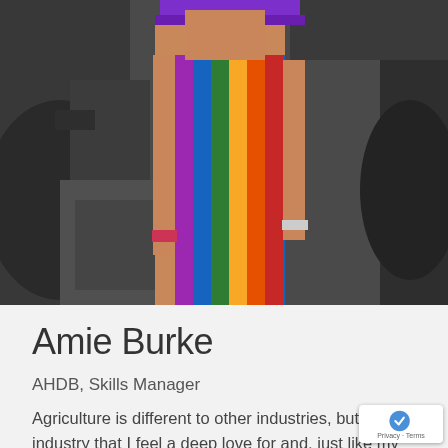[Figure (photo): Person wearing a rainbow-striped dress standing in front of dark tractor equipment. A purple belt or strap is visible at top. The person's arms are at their sides with a wristband visible.]
Amie Burke
AHDB, Skills Manager
Agriculture is different to other industries, but it's an industry that I feel a deep love for and, just like my sexuality, once I discovered it – I knew it